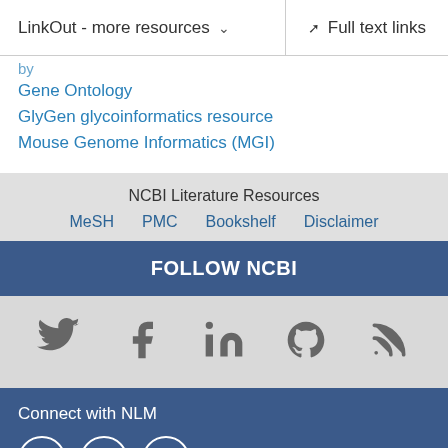LinkOut - more resources  |  Full text links
Gene Ontology
GlyGen glycoinformatics resource
Mouse Genome Informatics (MGI)
NCBI Literature Resources
MeSH   PMC   Bookshelf   Disclaimer
FOLLOW NCBI
[Figure (infographic): Social media icons: Twitter, Facebook, LinkedIn, GitHub, RSS]
Connect with NLM
[Figure (infographic): NLM social media icons in circles: Twitter, Facebook, YouTube]